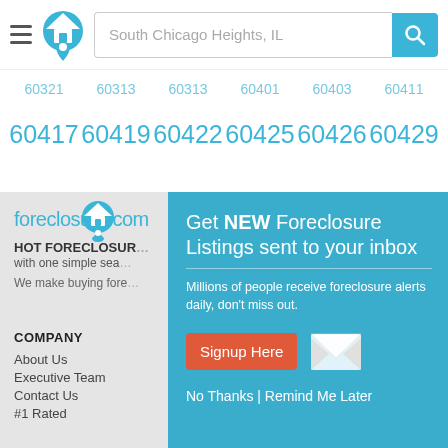[Figure (screenshot): Website header with hamburger menu, house logo icon, search bar showing 'South Chicago Heights, IL', and teal search button with magnifying glass icon]
60321  60313  60313  60401  60403  60411
60417  60419  60422  60425  60426  60429
[Figure (logo): foreclosure.com logo with house map pin icon]
HOT FORECLOSUR...
with one simple sea...
We make buying fore...
COMPANY
About Us
Executive Team
Contact Us
#1 Rated
Glossary
Foreclosure Laws
Foreclosure Articles
[Figure (infographic): Teal popup overlay: 'Get NEW Foreclosure Listings sent to your inbox' with signup form, envelope icon, Signup Here button, No Thanks | Remind Me Later link]